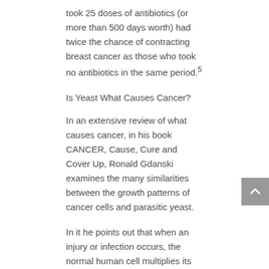took 25 doses of antibiotics (or more than 500 days worth) had twice the chance of contracting breast cancer as those who took no antibiotics in the same period.5
Is Yeast What Causes Cancer?
In an extensive review of what causes cancer, in his book CANCER, Cause, Cure and Cover Up, Ronald Gdanski examines the many similarities between the growth patterns of cancer cells and parasitic yeast.
In it he points out that when an injury or infection occurs, the normal human cell multiplies its “growth factor” (its ability to create new cells) in order to heal the injury. When parasitic yeast infiltrates an injury or infection, it acts in much the same way as the host cell – multiplying its growth factor.
As they inter-mingle, they create mutated cells with flaws in the cell walls that prevent the collection of